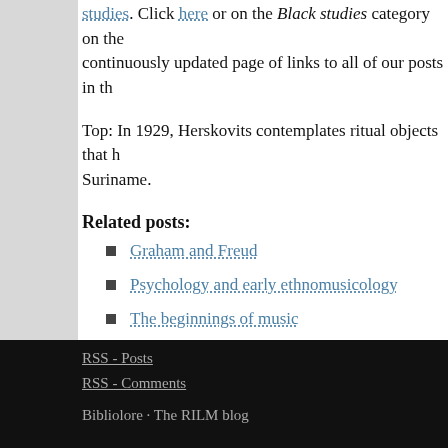studies. Click here or on the Black studies category on the continuously updated page of links to all of our posts in th
Top: In 1929, Herskovits contemplates ritual objects that h Suriname.
Related posts:
Graham and Freud
Psychology and early ethnomusicology
The beginnings of music
RSS - Posts
RSS - Comments
Bibliolore · The RILM blog